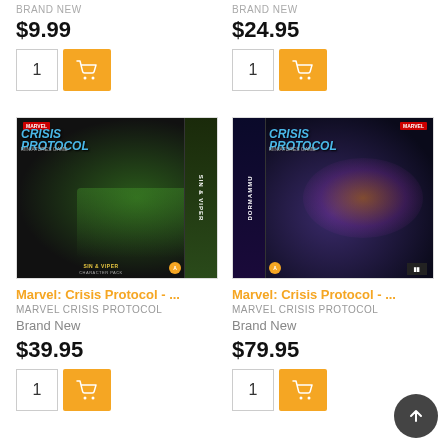Brand New
$9.99
1
Brand New
$24.95
1
[Figure (photo): Marvel Crisis Protocol - Sin & Viper product box showing miniature figurines on dark background with green accents]
[Figure (photo): Marvel Crisis Protocol - Dormammu product box showing miniature figurines on dark blue/purple background]
Marvel: Crisis Protocol - ...
MARVEL CRISIS PROTOCOL
Brand New
$39.95
1
Marvel: Crisis Protocol - ...
MARVEL CRISIS PROTOCOL
Brand New
$79.95
1